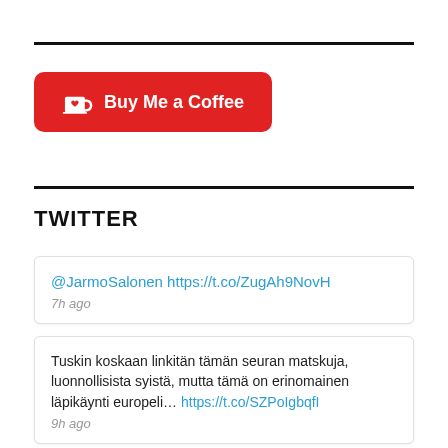[Figure (other): Red 'Buy Me a Coffee' button with cup icon]
TWITTER
@JarmoSalonen https://t.co/ZugAh9NovH
7h ago
Tuskin koskaan linkitän tämän seuran matskuja, luonnollisista syistä, mutta tämä on erinomainen läpikäynti europeli… https://t.co/SZPoIgbqfI
9h ago